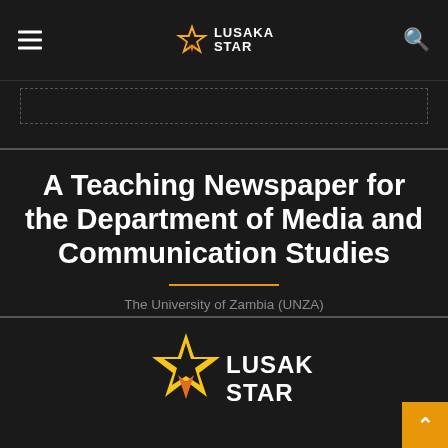[Figure (logo): Lusaka Star logo in top navigation bar with hamburger menu on left and search icon on right]
A Teaching Newspaper for the Department of Media and Communication Studies
The University of Zambia (UNZA)
[Figure (logo): Lusaka Star logo in bottom section - larger star icon with LUSAKA STAR text in white]